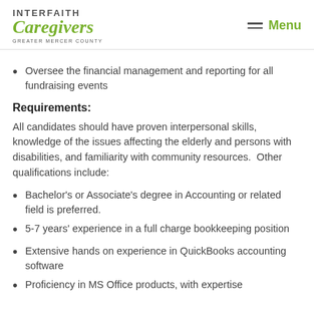Interfaith Caregivers Greater Mercer County | Menu
Oversee the financial management and reporting for all fundraising events
Requirements:
All candidates should have proven interpersonal skills, knowledge of the issues affecting the elderly and persons with disabilities, and familiarity with community resources.  Other qualifications include:
Bachelor's or Associate's degree in Accounting or related field is preferred.
5-7 years' experience in a full charge bookkeeping position
Extensive hands on experience in QuickBooks accounting software
Proficiency in MS Office products, with expertise